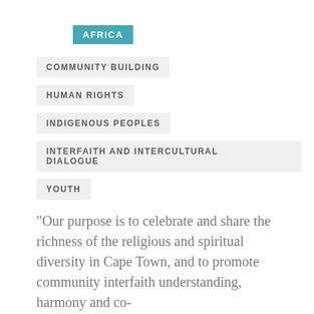AFRICA
COMMUNITY BUILDING
HUMAN RIGHTS
INDIGENOUS PEOPLES
INTERFAITH AND INTERCULTURAL DIALOGUE
YOUTH
"Our purpose is to celebrate and share the richness of the religious and spiritual diversity in Cape Town, and to promote community interfaith understanding, harmony and co-